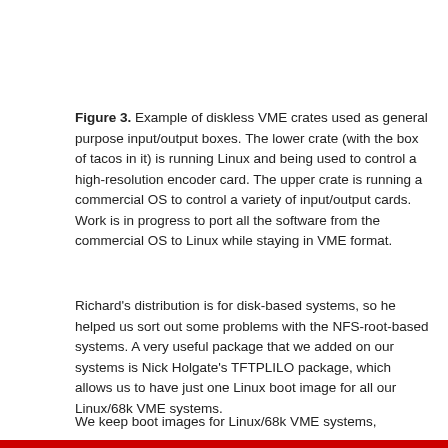Figure 3. Example of diskless VME crates used as general purpose input/output boxes. The lower crate (with the box of tacos in it) is running Linux and being used to control a high-resolution encoder card. The upper crate is running a commercial OS to control a variety of input/output cards. Work is in progress to port all the software from the commercial OS to Linux while staying in VME format.
Richard's distribution is for disk-based systems, so he helped us sort out some problems with the NFS-root-based systems. A very useful package that we added on our systems is Nick Holgate's TFTPLILO package, which allows us to have just one Linux boot image for all our Linux/68k VME systems.
We keep boot images for Linux/68k VME systems, ... our FTP server.